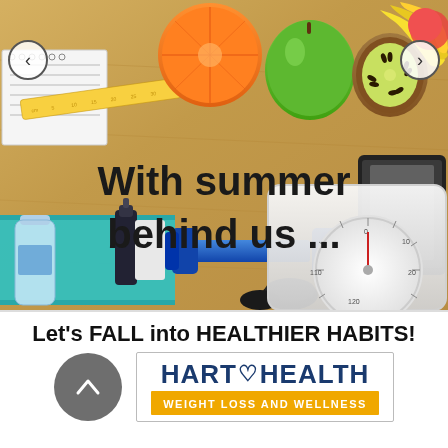[Figure (photo): Overhead flat-lay photo on a wooden surface showing fruits (orange, apple, kiwi, banana), a measuring tape, notebook, blue dumbbell, teal towel, water bottle, dark weights, and a white bathroom scale. Text overlay reads 'With summer behind us ...']
With summer behind us ...
Let's FALL into HEALTHIER HABITS!
[Figure (logo): Hart Health Weight Loss and Wellness logo: brand name in dark blue with a heart symbol, tagline on a gold/yellow bar reading WEIGHT LOSS AND WELLNESS]